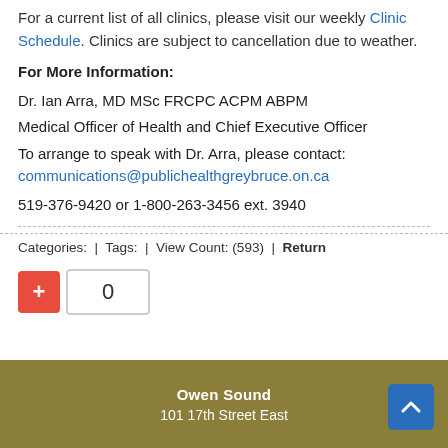For a current list of all clinics, please visit our weekly Clinic Schedule. Clinics are subject to cancellation due to weather.
For More Information:
Dr. Ian Arra, MD MSc FRCPC ACPM ABPM
Medical Officer of Health and Chief Executive Officer
To arrange to speak with Dr. Arra, please contact: communications@publichealthgreybruce.on.ca
519-376-9420 or 1-800-263-3456 ext. 3940
Categories: | Tags: | View Count: (593) | Return
0
Owen Sound
101 17th Street East